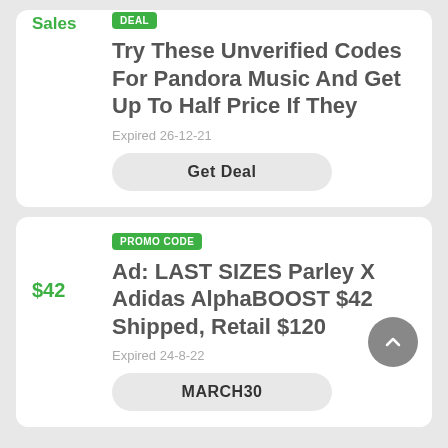DEAL
Try These Unverified Codes For Pandora Music And Get Up To Half Price If They
Sales
Expired 26-12-21
Get Deal
PROMO CODE
Ad: LAST SIZES Parley X Adidas AlphaBOOST $42 Shipped, Retail $120
$42
Expired 24-8-22
MARCH30